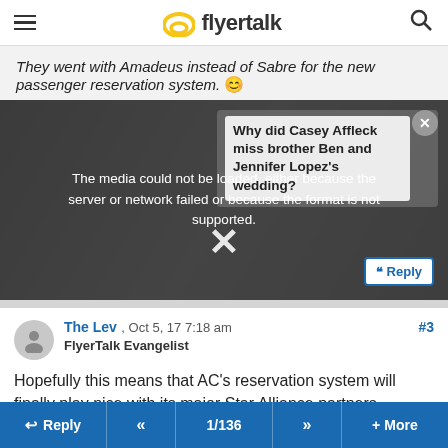FlyerTalk
They went with Amadeus instead of Sabre for the new passenger reservation system.
[Figure (screenshot): Media player overlay showing error: 'The media could not be loaded, either because the server or network failed or because the format is not supported.' with a news widget overlay showing 'Why did Casey Affleck miss brother Ben and Jennifer Lopez's wedding?' and a close X button.]
#3
The Lev , Oct 5, 17 7:18 am
FlyerTalk Evangelist
Hopefully this means that AC's reservation system will finally play nice with its major Star Alliance partners.
Reply  <<  1/136  >>  + More